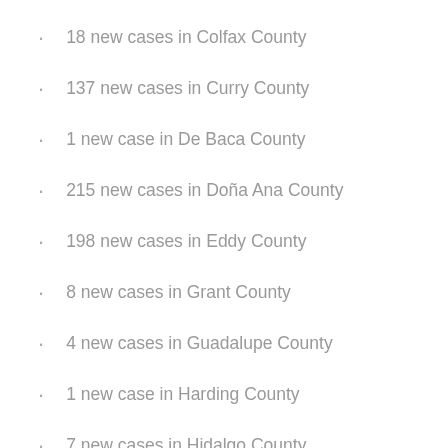18 new cases in Colfax County
137 new cases in Curry County
1 new case in De Baca County
215 new cases in Doña Ana County
198 new cases in Eddy County
8 new cases in Grant County
4 new cases in Guadalupe County
1 new case in Harding County
7 new cases in Hidalgo County
160 new cases in Lea County